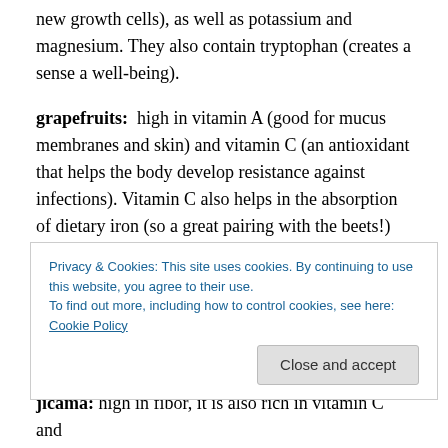new growth cells), as well as potassium and magnesium. They also contain tryptophan (creates a sense a well-being).
grapefruits: high in vitamin A (good for mucus membranes and skin) and vitamin C (an antioxidant that helps the body develop resistance against infections). Vitamin C also helps in the absorption of dietary iron (so a great pairing with the beets!)
maca: high in vitamins B, C, and E (healthy immune system, skin and eyes), as well as iron, calcium and
Privacy & Cookies: This site uses cookies. By continuing to use this website, you agree to their use.
To find out more, including how to control cookies, see here: Cookie Policy
jicama: high in fiber, it is also rich in vitamin C and